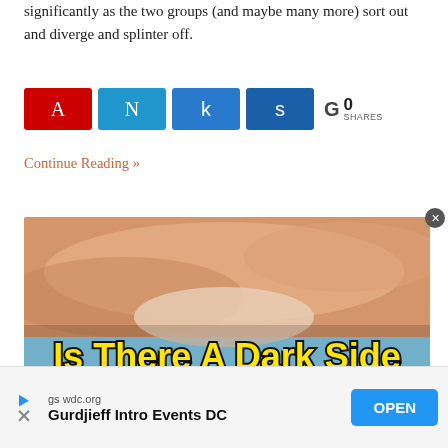significantly as the two groups (and maybe many more) sort out and diverge and splinter off.
[Figure (infographic): Social share buttons: A (red, Google+), N (light blue, unknown), k (medium blue, unknown), s (dark blue, unknown), G 0 SHARES]
Continue Reading »
[Figure (photo): Article thumbnail image showing hands and text 'Is There A Dark Side' in bold yellow letters with black outline on a blue background]
[Figure (infographic): Advertisement banner: gswdc.org - Gurdjieff Intro Events DC - OPEN button]